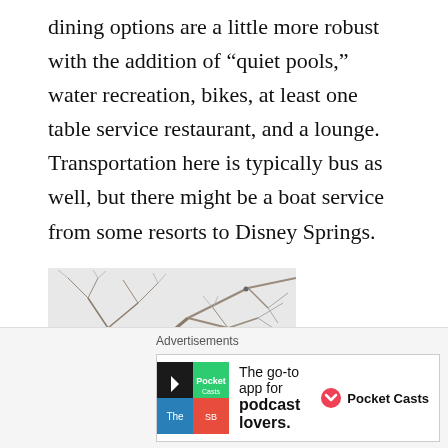dining options are a little more robust with the addition of “quiet pools,” water recreation, bikes, at least one table service restaurant, and a lounge. Transportation here is typically bus as well, but there might be a boat service from some resorts to Disney Springs.
[Figure (photo): Photo of bare winter tree branches against a pale sky, with a partial view of a dark building in the lower left corner.]
Advertisements
[Figure (other): Advertisement banner: Pocket Casts app ad showing logo tiles and text 'The go-to app for podcast lovers.' with Pocket Casts brand logo.]